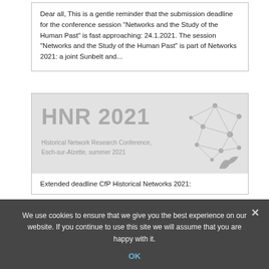Dear all,  This is a gentle reminder that the submission deadline for the conference session "Networks and the Study of the Human Past" is fast approaching: 24.1.2021.  The session "Networks and the Study of the Human Past" is part of Networks 2021: a joint Sunbelt and...
[Figure (illustration): HNR 2021 conference banner showing 'HNR 2021' in large grey text, subtitle 'Historical Network Research Conference, Esch-sur-Alzette, summer 2021', with a network graph diagram on the right side and a bird silhouette at bottom right.]
Extended deadline CfP Historical Networks 2021:
We use cookies to ensure that we give you the best experience on our website. If you continue to use this site we will assume that you are happy with it.
OK